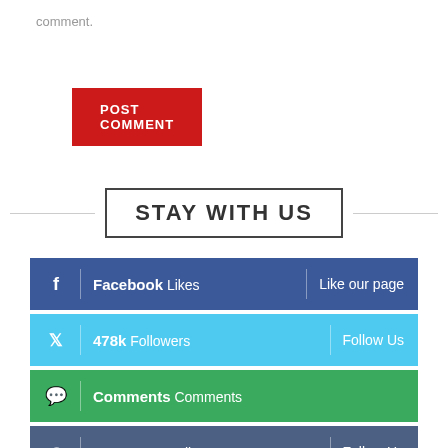comment.
POST COMMENT
STAY WITH US
Facebook Likes | Like our page
478k Followers | Follow Us
Comments Comments
Instagram Followers | Follow Us
RSS Subscribe | Subscribe